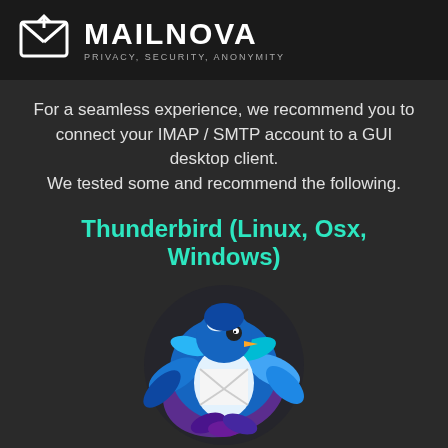MAILNOVA — PRIVACY, SECURITY, ANONYMITY
For a seamless experience, we recommend you to connect your IMAP / SMTP account to a GUI desktop client.
We tested some and recommend the following.
Thunderbird (Linux, Osx, Windows)
[Figure (logo): Thunderbird email client logo: a blue bird holding a white envelope, swooping in a circular motion with blue feathers and purple/dark tail.]
Open source project from Mozilla, Free